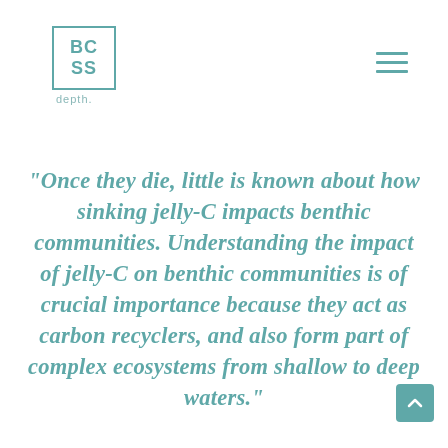[Figure (logo): BCSS logo with square border and 'depth.' text below]
“Once they die, little is known about how sinking jelly-C impacts benthic communities. Understanding the impact of jelly-C on benthic communities is of crucial importance because they act as carbon recyclers, and also form part of complex ecosystems from shallow to deep waters.”